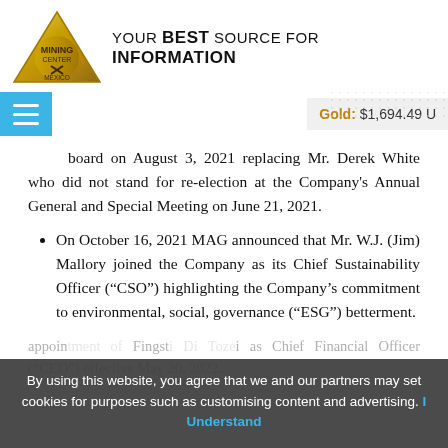[Figure (logo): Mining Center Mexico triangular gold logo with pickaxe icon]
YOUR BEST SOURCE FOR INFORMATION
Gold: $1,694.49 U
board on August 3, 2021 replacing Mr. Derek White who did not stand for re-election at the Company's Annual General and Special Meeting on June 21, 2021.
On October 16, 2021 MAG announced that Mr. W.J. (Jim) Mallory joined the Company as its Chief Sustainability Officer (“CSO”) highlighting the Company’s commitment to environmental, social, governance (“ESG”) betterment.
By using this website, you agree that we and our partners may set cookies for purposes such as customising content and advertising. I Understand